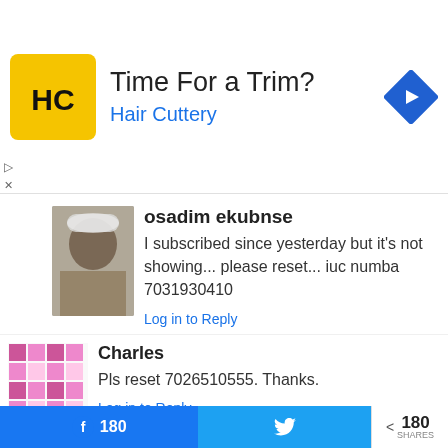[Figure (infographic): Hair Cuttery advertisement banner with yellow logo, 'Time For a Trim?' headline, 'Hair Cuttery' subtext in blue, and a blue diamond-shaped navigation arrow icon on the right.]
osadim ekubnse
I subscribed since yesterday but it's not showing... please reset... iuc numba 7031930410
Log in to Reply
Charles
Pls reset 7026510555. Thanks.
Log in to Reply
Shacni A/qadir osman
I have subscribe since morning and
180
180 SHARES